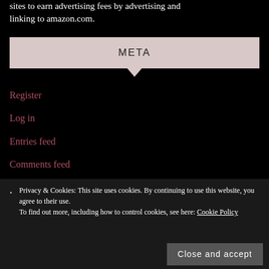sites to earn advertising fees by advertising and linking to amazon.com.
META
Register
Log in
Entries feed
Comments feed
Privacy & Cookies: This site uses cookies. By continuing to use this website, you agree to their use. To find out more, including how to control cookies, see here: Cookie Policy
Close and accept